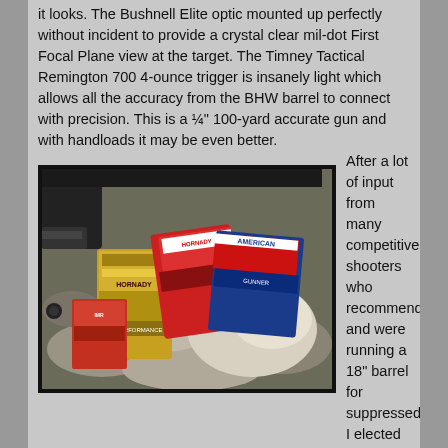it looks. The Bushnell Elite optic mounted up perfectly without incident to provide a crystal clear mil-dot First Focal Plane view at the target. The Timney Tactical Remington 700 4-ounce trigger is insanely light which allows all the accuracy from the BHW barrel to connect with precision. This is a ¼" 100-yard accurate gun and with handloads it may be even better.
[Figure (photo): Photo of several ammunition boxes laid on rocky ground next to what appears to be a rifle or gun case. Boxes include Hornady and other brands.]
After a lot of input from many competitive shooters who recommended and were running a 18" barrel for suppressed, I elected for a shorter barrel with the express intent to run suppressed. This delivers